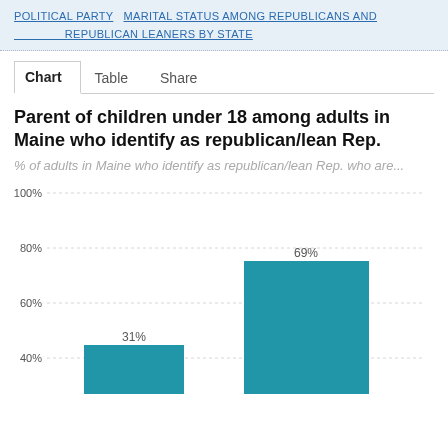POLITICAL PARTY   MARITAL STATUS AMONG REPUBLICANS AND REPUBLICAN LEANERS BY STATE
Chart   Table   Share
Parent of children under 18 among adults in Maine who identify as republican/lean Rep.
% of adults in Maine who identify as republican/lean Rep. who are...
[Figure (bar-chart): Parent of children under 18 among adults in Maine who identify as republican/lean Rep.]